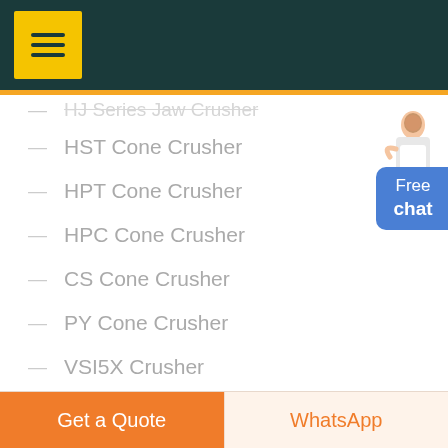Navigation menu header with hamburger icon
HJ Series Jaw Crusher
HST Cone Crusher
HPT Cone Crusher
HPC Cone Crusher
CS Cone Crusher
PY Cone Crusher
VSI5X Crusher
VSI Crusher (partially visible)
Get a Quote | WhatsApp